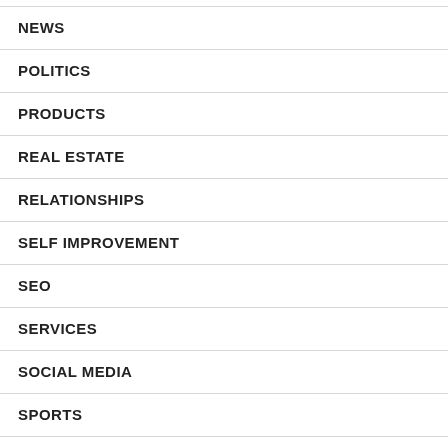NEWS
POLITICS
PRODUCTS
REAL ESTATE
RELATIONSHIPS
SELF IMPROVEMENT
SEO
SERVICES
SOCIAL MEDIA
SPORTS
TRAVEL AND LEISURE
TV